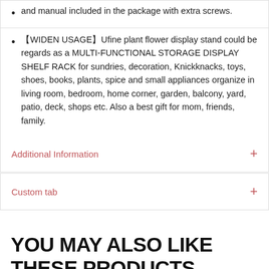and manual included in the package with extra screws.
【WIDEN USAGE】Ufine plant flower display stand could be regards as a MULTI-FUNCTIONAL STORAGE DISPLAY SHELF RACK for sundries, decoration, Knickknacks, toys, shoes, books, plants, spice and small appliances organize in living room, bedroom, home corner, garden, balcony, yard, patio, deck, shops etc. Also a best gift for mom, friends, family.
Additional Information
Custom tab
YOU MAY ALSO LIKE THESE PRODUCTS